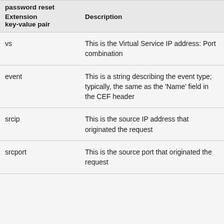| Extension key-value pair | Description |
| --- | --- |
| vs | This is the Virtual Service IP address: Port combination |
| event | This is a string describing the event type; typically, the same as the 'Name' field in the CEF header |
| srcip | This is the source IP address that originated the request |
| srcport | This is the source port that originated the request |